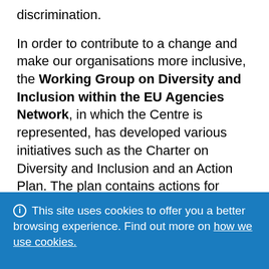discrimination.
In order to contribute to a change and make our organisations more inclusive, the Working Group on Diversity and Inclusion within the EU Agencies Network, in which the Centre is represented, has developed various initiatives such as the Charter on Diversity and Inclusion and an Action Plan. The plan contains actions for European agencies and joint undertakings to select from and implement, not only during the European Diversity Month but throughout the year.
This site uses cookies to offer you a better browsing experience. Find out more on how we use cookies.